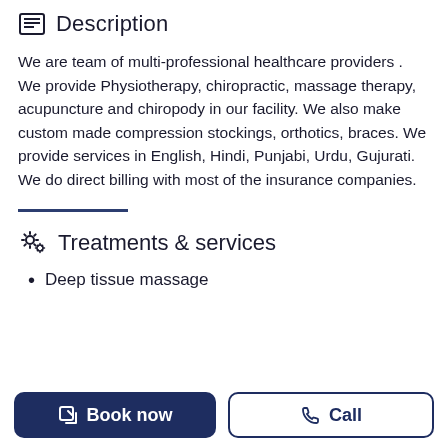Description
We are team of multi-professional healthcare providers . We provide Physiotherapy, chiropractic, massage therapy, acupuncture and chiropody in our facility. We also make custom made compression stockings, orthotics, braces. We provide services in English, Hindi, Punjabi, Urdu, Gujurati. We do direct billing with most of the insurance companies.
Treatments & services
Deep tissue massage
Book now
Call